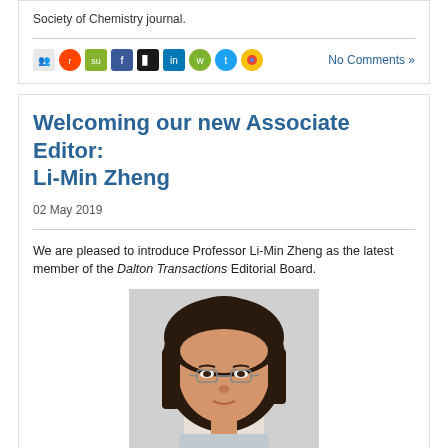Society of Chemistry journal.
[Figure (other): Social media sharing icons row: Reddit, StumbleUpon, Facebook, Delicious, LinkedIn, WeChat, Twitter, Google+]
No Comments »
Welcoming our new Associate Editor: Li-Min Zheng
02 May 2019
We are pleased to introduce Professor Li-Min Zheng as the latest member of the Dalton Transactions Editorial Board.
[Figure (photo): Portrait photo of Professor Li-Min Zheng, a woman with short dark hair wearing glasses]